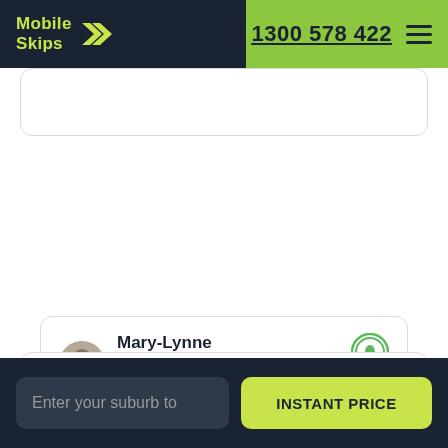Mobile Skips — 1300 578 422
[Figure (screenshot): Mobile Skips logo with green chevron arrows on dark navy background, phone number 1300 578 422 with phone icon on green background, hamburger menu icon]
Mary-Lynne ★★★★★ 29/08/22 - ProductReview — Unexpected need of second bin. So impressed with the service from this company. They did everything possible to help us.
Enter your suburb to   INSTANT PRICE